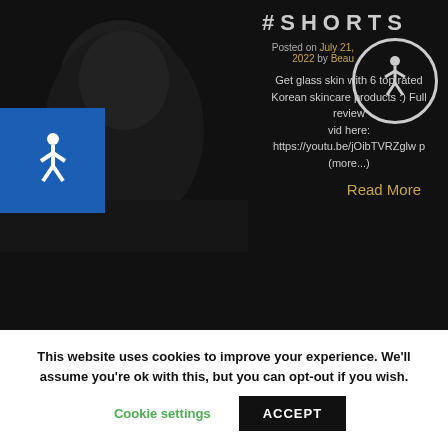[Figure (screenshot): Dark background with partial face/portrait visible on left side of screen, website screenshot]
#SHORTS
Posted on July 21, 2022 by Beau
Get glass skin with 6 top rated Korean skincare products :) Full review vid here: https://youtu.be/jOibTVRZglw p (more...)
Read More
This website uses cookies to improve your experience. We'll assume you're ok with this, but you can opt-out if you wish.
Cookie settings
ACCEPT